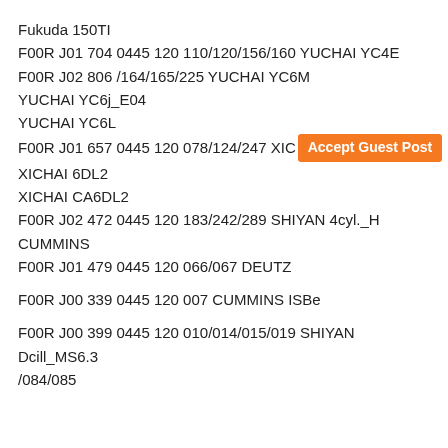Fukuda 150TI
F00R J01 704 0445 120 110/120/156/160 YUCHAI YC4E
F00R J02 806 /164/165/225 YUCHAI YC6M
YUCHAI YC6j_E04
YUCHAI YC6L
F00R J01 657 0445 120 078/124/247 XIC... [Accept Guest Post badge]
XICHAI 6DL2
XICHAI CA6DL2
F00R J02 472 0445 120 183/242/289 SHIYAN 4cyl._H
CUMMINS
F00R J01 479 0445 120 066/067 DEUTZ
F00R J00 339 0445 120 007 CUMMINS ISBe
F00R J00 399 0445 120 010/014/015/019 SHIYAN
Dcill_MS6.3
/084/085